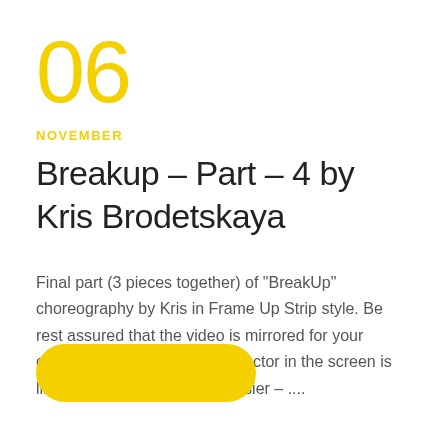06
NOVEMBER
Breakup – Part – 4 by Kris Brodetskaya
Final part (3 pieces together) of "BreakUp" choreography by Kris in Frame Up Strip style. Be rest assured that the video is mirrored for your convenience, so that the instructor in the screen is like your reflection. Music: Easier – ....
[Figure (other): Yellow pill-shaped button]